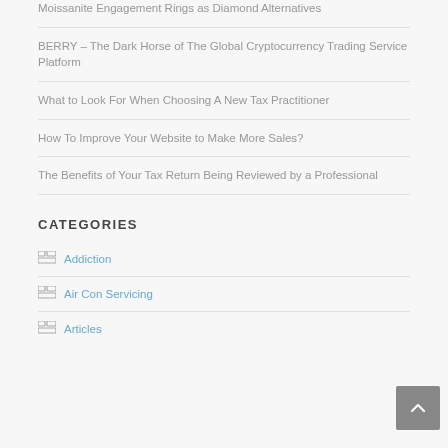Moissanite Engagement Rings as Diamond Alternatives
BERRY – The Dark Horse of The Global Cryptocurrency Trading Service Platform
What to Look For When Choosing A New Tax Practitioner
How To Improve Your Website to Make More Sales?
The Benefits of Your Tax Return Being Reviewed by a Professional
CATEGORIES
Addiction
Air Con Servicing
Articles